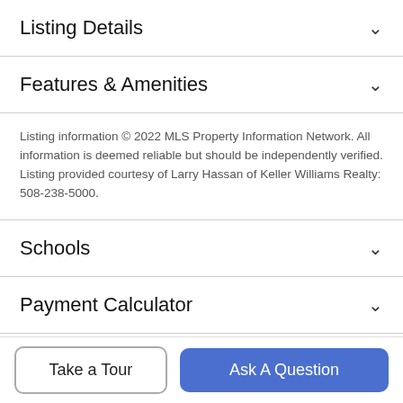Listing Details
Features & Amenities
Listing information © 2022 MLS Property Information Network. All information is deemed reliable but should be independently verified. Listing provided courtesy of Larry Hassan of Keller Williams Realty: 508-238-5000.
Schools
Payment Calculator
Contact Agent
Take a Tour
Ask A Question